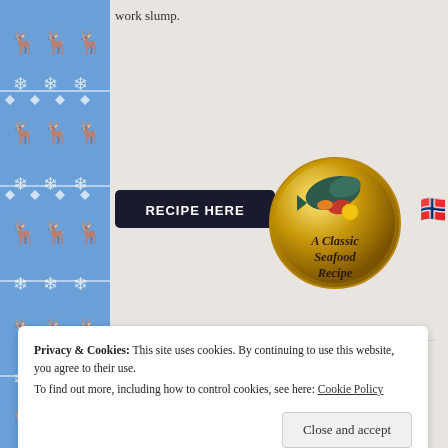work slump.
[Figure (illustration): Nordic/Scandinavian decorative blue border on the left side of the page with white reindeer and snowflake patterns]
[Figure (illustration): Black button with text 'RECIPE HERE' followed by UK flag emoji, and a gold circular badge with fish illustration labeled 'A Classic Seafood Recipe', with a Norwegian flag partially visible on the right]
Rate this: ★★★★★ ℹ 2 Votes
Share this:
[Figure (illustration): Social sharing icons: email, print, Twitter, Facebook, Pinterest, Reddit, Tumblr, LinkedIn]
Privacy & Cookies: This site uses cookies. By continuing to use this website, you agree to their use.
To find out more, including how to control cookies, see here: Cookie Policy
Close and accept